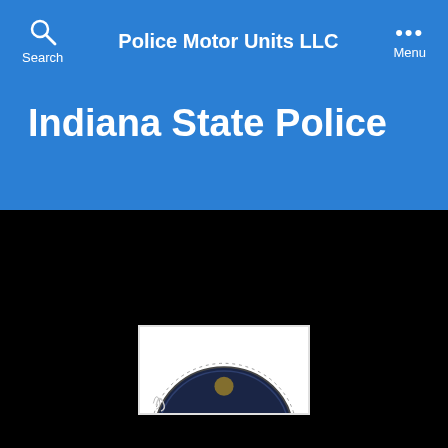Police Motor Units LLC
Indiana State Police
[Figure (photo): Partial view of an Indiana State Police badge or patch, showing the top arc of a dark navy/blue circular badge with stitched border detail, on a white background.]